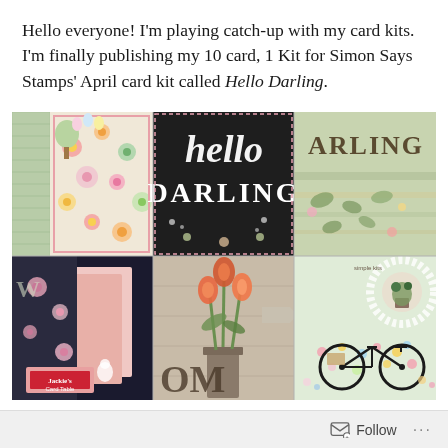Hello everyone! I'm playing catch-up with my card kits. I'm finally publishing my 10 card, 1 Kit for Simon Says Stamps' April card kit called Hello Darling.
[Figure (photo): A collage of handmade greeting cards arranged in a 3x2 grid. Cards feature spring floral patterns, 'Hello Darling' text in chalk style, gingham patterns, tulips in a vase, a bicycle, and scrapbooking embellishments. A 'Jackie's Card Table' logo/label appears on one card.]
I was so very ready to create some spring time cards!
Follow ···